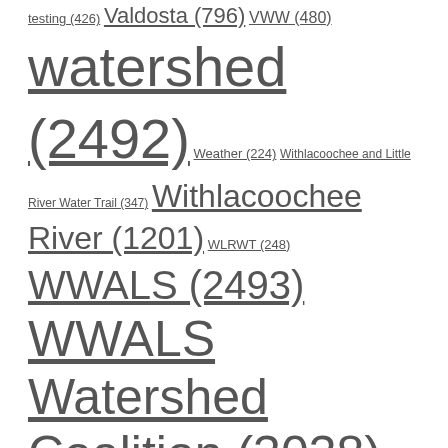testing (426) Valdosta (796) VWW (480) watershed (2492) Weather (224) Withlacoochee and Little River Water Trail (347) Withlacoochee River (1201) WLRWT (248) WWALS (2493) WWALS Watershed Coalition (3038)
CALENDAR
| M | T | W | T | F | S | S |
| --- | --- | --- | --- | --- | --- | --- |
| 1 | 2 | 3 | 4 | 5 | 6 | 7 |
| 8 | 9 | 10 | 11 | 12 | 13 | 14 |
| 15 | 16 | 17 | 18 | 19 | 20 | 21 |
| 22 | 23 | 24 | 25 | 26 | 27 | 28 |
| 29 | 30 | 31 |  |  |  |  |
« Jul